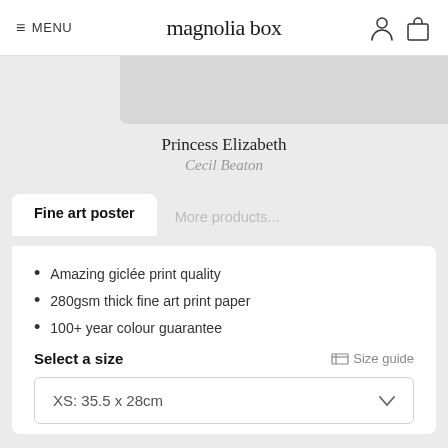≡ MENU | magnolia box
[Figure (screenshot): Partial view of art print image placeholder at top]
Princess Elizabeth
Cecil Beaton
Fine art poster | More products...
Amazing giclée print quality
280gsm thick fine art print paper
100+ year colour guarantee
Select a size
Size guide
XS: 35.5 x 28cm